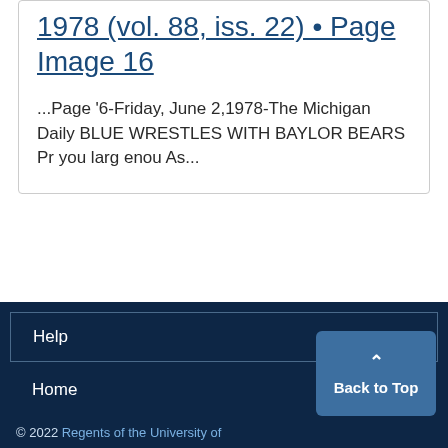1978 (vol. 88, iss. 22) • Page Image 16
...Page '6-Friday, June 2,1978-The Michigan Daily BLUE WRESTLES WITH BAYLOR BEARS Pr you larg enou As...
Help
Home
© 2022 Regents of the University of